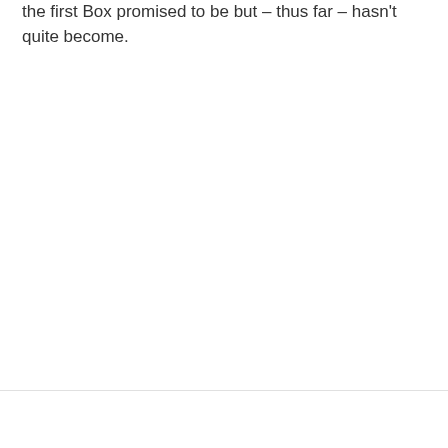the first Box promised to be but – thus far – hasn't quite become.